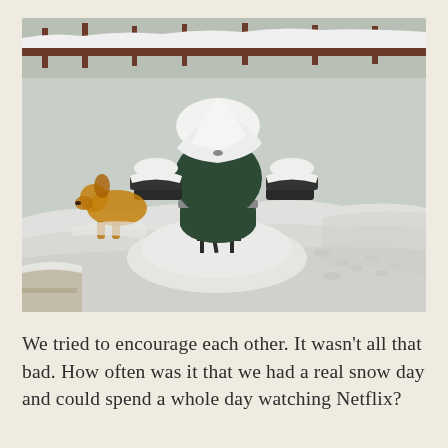[Figure (photo): A heavily snow-covered Big Green Egg kamado grill on an outdoor deck, buried in deep snow up to the firebox. The dome and side shelves are piled with large mounds of snow. A golden retriever dog is visible in the background to the left, also in the snow. The deck railing and snowy trees/yard are visible in the background.]
We tried to encourage each other. It wasn't all that bad. How often was it that we had a real snow day and could spend a whole day watching Netflix?